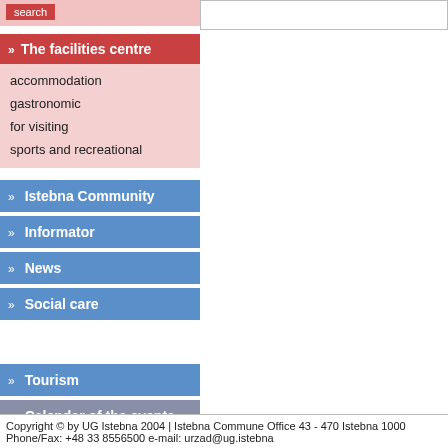search
» The facilities centre
accommodation
gastronomic
for visiting
sports and recreational
» Istebna Community
» Informator
» News
» Social care
» Tourism
» Calendar of the events
Copyright © by UG Istebna 2004 | Istebna Commune Office 43 - 470 Istebna 1000 Phone/Fax: +48 33 8556500 e-mail: urzad@ug.istebna